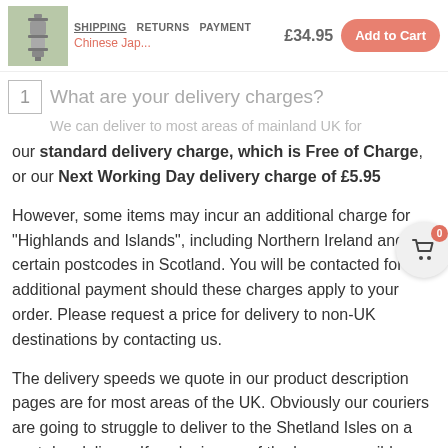SHIPPING  RETURNS  PAYMENT  Chinese Jap...  £34.95  Add to Cart
What are your delivery charges?
We can deliver to most areas of mainland UK for our standard delivery charge, which is Free of Charge, or our Next Working Day delivery charge of £5.95
However, some items may incur an additional charge for "Highlands and Islands", including Northern Ireland and certain postcodes in Scotland. You will be contacted for additional payment should these charges apply to your order. Please request a price for delivery to non-UK destinations by contacting us.
The delivery speeds we quote in our product description pages are for most areas of the UK. Obviously our couriers are going to struggle to deliver to the Shetland Isles on a next day delivery. If you're in one of the less-accessible areas of the UK